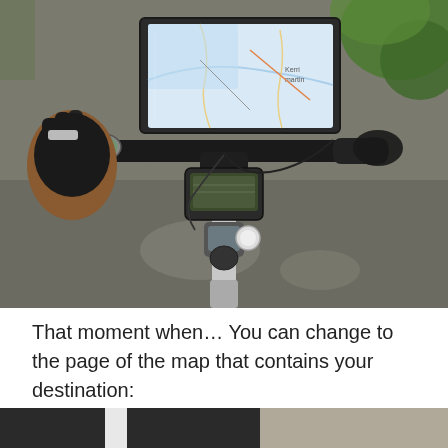[Figure (photo): Overhead view from cyclist's perspective showing bicycle handlebars with a paper map in a transparent handlebar bag, a GPS computer mounted in the center, and a rear-view mirror on the left. The rider's gloved hand is visible on the left handlebar. Road surface visible below, with greenery in the background.]
That moment when… You can change to the page of the map that contains your destination:
[Figure (photo): Partial view of a road surface — dark asphalt with a white lane marking stripe on the left and lighter paved surface on the right, shot from low angle.]